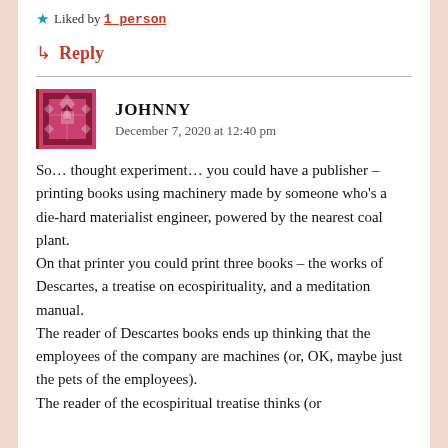★ Liked by 1person
↳ Reply
JOHNNY
December 7, 2020 at 12:40 pm
So… thought experiment… you could have a publisher – printing books using machinery made by someone who's a die-hard materialist engineer, powered by the nearest coal plant.
On that printer you could print three books – the works of Descartes, a treatise on ecospirituality, and a meditation manual.
The reader of Descartes books ends up thinking that the employees of the company are machines (or, OK, maybe just the pets of the employees).
The reader of the ecospiritual treatise thinks (or